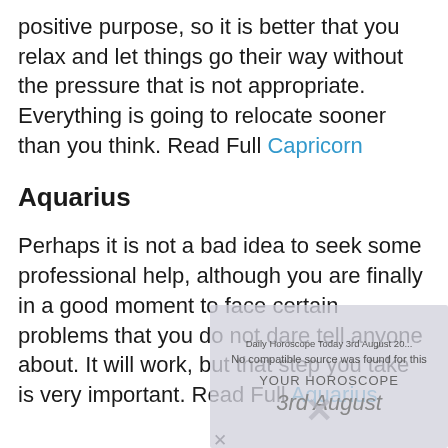positive purpose, so it is better that you relax and let things go their way without the pressure that is not appropriate. Everything is going to relocate sooner than you think. Read Full Capricorn
Aquarius
Perhaps it is not a bad idea to seek some professional help, although you are finally in a good moment to face certain problems that you do not dare tell anyone about. It will work, but that step you take is very important. Read Full Aquarius
[Figure (screenshot): Video player overlay showing 'Daily Horoscope Today 3rd August 20...' with 'No compatible source was found for this' error message, YOUR HOROSCOPE logo text, '3rd August' date, and an X close button.]